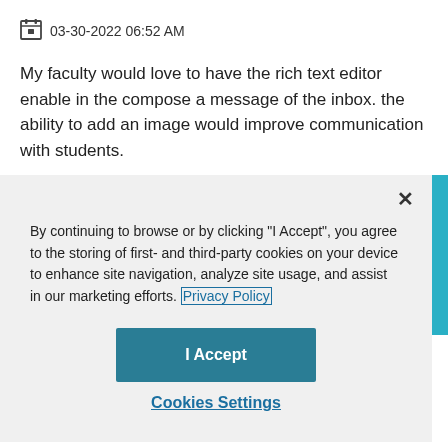03-30-2022 06:52 AM
My faculty would love to have the rich text editor enable in the compose a message of the inbox. the ability to add an image would improve communication with students.
By continuing to browse or by clicking "I Accept", you agree to the storing of first- and third-party cookies on your device to enhance site navigation, analyze site usage, and assist in our marketing efforts. Privacy Policy
I Accept
Cookies Settings